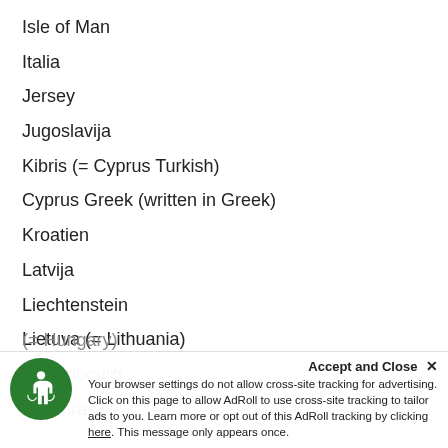Isle of Man
Italia
Jersey
Jugoslavija
Kibris (= Cyprus Turkish)
Cyprus Greek (written in Greek)
Kroatien
Latvija
Liechtenstein
Lietuva (= Lithuania)
Luxembourg
Madeira
(= Hungary)
Accept and Close ×
Your browser settings do not allow cross-site tracking for advertising. Click on this page to allow AdRoll to use cross-site tracking to tailor ads to you. Learn more or opt out of this AdRoll tracking by clicking here. This message only appears once.